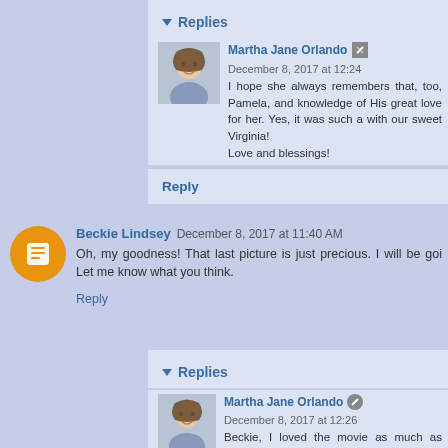Replies
Martha Jane Orlando  December 8, 2017 at 12:24
I hope she always remembers that, too, Pamela, and knowledge of His great love for her. Yes, it was such a with our sweet Virginia!
Love and blessings!
Reply
Beckie Lindsey  December 8, 2017 at 11:40 AM
Oh, my goodness! That last picture is just precious. I will be go Let me know what you think.
Reply
Replies
Martha Jane Orlando  December 8, 2017 at 12:26
Beckie, I loved the movie as much as Virginia did. Yes but the heart of the film is the Christmas message, th